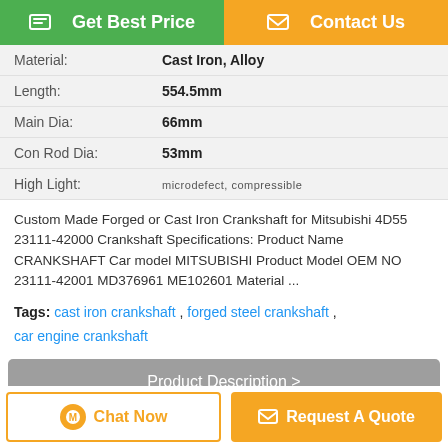[Figure (screenshot): Two buttons at top: green 'Get Best Price' and orange 'Contact Us']
| Property | Value |
| --- | --- |
| Material: | Cast Iron, Alloy |
| Length: | 554.5mm |
| Main Dia: | 66mm |
| Con Rod Dia: | 53mm |
| High Light: | microdefect, compressible |
Custom Made Forged or Cast Iron Crankshaft for Mitsubishi 4D55 23111-42000 Crankshaft Specifications: Product Name CRANKSHAFT Car model MITSUBISHI Product Model OEM NO 23111-42001 MD376961 ME102601 Material ...
Tags: cast iron crankshaft , forged steel crankshaft , car engine crankshaft
Product Description >
Get the Best Price for
[Figure (screenshot): Two buttons at bottom: white 'Chat Now' and orange 'Request A Quote']